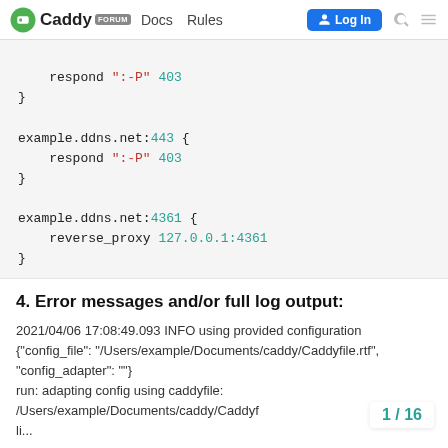Caddy FORUM  Docs  Rules  Log In
respond ":-P" 403
}

example.ddns.net:443 {
    respond ":-P" 403
}

example.ddns.net:4361 {
    reverse_proxy 127.0.0.1:4361
}
4. Error messages and/or full log output:
2021/04/06 17:08:49.093 INFO using provided configuration {"config_file": "/Users/example/Documents/caddy/Caddyfile.rtf", "config_adapter": ""}
run: adapting config using caddyfile:
/Users/example/Documents/caddy/Caddyf
li...
1 / 16